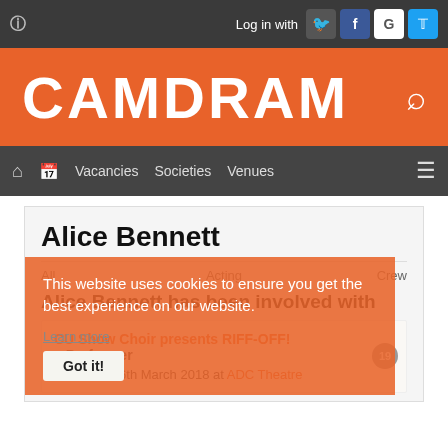CAMDRAM - Log in with [crow] [f] [G] [twitter]
Vacancies  Societies  Venues
Alice Bennett
This website uses cookies to ensure you get the best experience on our website.
Got it!
All   Acting   Crew
Learn more
Alice Bennett has been involved with
CU Show Choir presents RIFF-OFF! – Performer
23:00, Tue 6th March 2018 at ADC Theatre